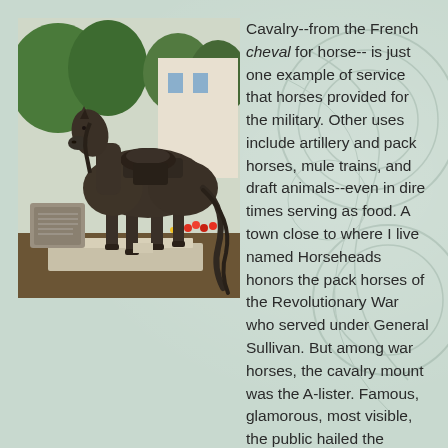[Figure (photo): Bronze statue of a cavalry horse with saddle and equipment, standing on a concrete base outdoors. Green trees and colorful flowers visible in background. A memorial plaque on a stone is visible to the left of the statue.]
Cavalry--from the French cheval for horse-- is just one example of service that horses provided for the military. Other uses include artillery and pack horses, mule trains, and draft animals--even in dire times serving as food. A town close to where I live named Horseheads honors the pack horses of the Revolutionary War who served under General Sullivan. But among war horses, the cavalry mount was the A-lister. Famous, glamorous, most visible, the public hailed the courage of these steeds and celebrated them by name.